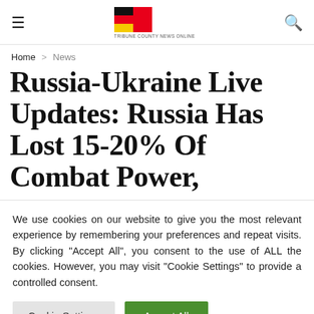≡  [Logo: Tribune County News]  🔍
Home > News
Russia-Ukraine Live Updates: Russia Has Lost 15-20% Of Combat Power,
We use cookies on our website to give you the most relevant experience by remembering your preferences and repeat visits. By clicking "Accept All", you consent to the use of ALL the cookies. However, you may visit "Cookie Settings" to provide a controlled consent.